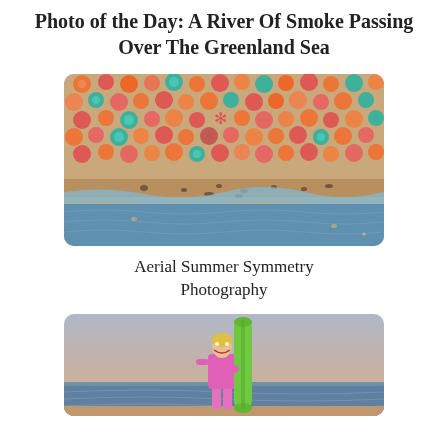Photo of the Day: A River Of Smoke Passing Over The Greenland Sea
[Figure (photo): Aerial view of a crowded beach with colorful umbrellas (orange, pink, teal, red) arranged in rows, with ocean waves at the bottom]
Aerial Summer Symmetry Photography
[Figure (photo): Person in pink/magenta outfit holding a tall green surfboard on a beach, standing in front of the ocean at dusk or dawn]